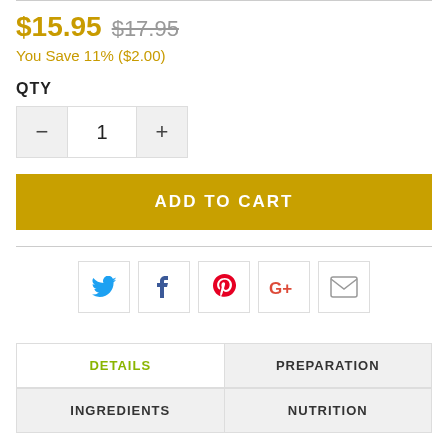$15.95 $17.95
You Save 11% ($2.00)
QTY
- 1 +
ADD TO CART
[Figure (other): Social share icons: Twitter, Facebook, Pinterest, Google+, Email]
| DETAILS | PREPARATION |
| --- | --- |
| INGREDIENTS | NUTRITION |